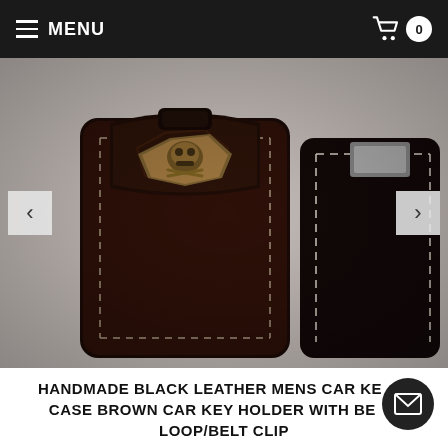MENU  0
[Figure (photo): Two dark brown/black handmade leather car key cases with white stitching. The front case features a bronze skull shield decorative emblem. Both cases are photographed on a light surface.]
HANDMADE BLACK LEATHER MENS CAR KEY CASE BROWN CAR KEY HOLDER WITH BELT LOOP/BELT CLIP